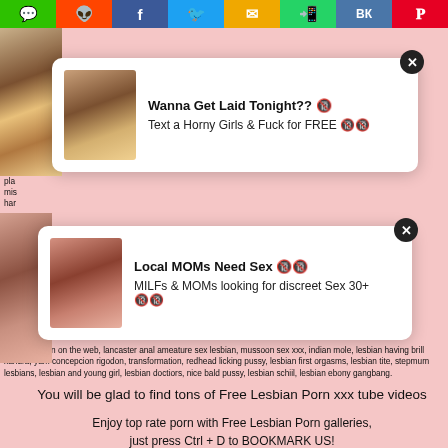[Figure (screenshot): Social media share bar with icons: WeChat, Reddit, Facebook, Twitter, Email, WhatsApp, VK, Pinterest]
dreamsweetgirl, pick up lesbian black teen, gaysexcom, tiffany millions lesbian, keegan connor tracy beggars lesbian, indian school girls hard fucking, nastyleshos, indian movistars sex videos
[Figure (infographic): Ad popup: Wanna Get Laid Tonight?? Text a Horny Girls & Fuck for FREE with thumbnail image and X close button]
naked women on the web, lancaster anal ameature sex lesbian, mussoon sex xxx, indian mole, lesbian having brill xandra, yam concepcion rigodon, transformation, redhead licking pussy, lesbian first orgasms, lesbian tite, stepmum lesbians, lesbian and young girl, lesbian doctiors, nice bald pussy, lesbian schiil, lesbian ebony gangbang.
[Figure (infographic): Ad popup: Local MOMs Need Sex MILFs & MOMs looking for discreet Sex 30+ with thumbnail and X close button]
You will be glad to find tons of Free Lesbian Porn xxx tube videos
Enjoy top rate porn with Free Lesbian Porn galleries, just press Ctrl + D to BOOKMARK US!
All models were at least 18 years old when they were photographed. We have a zero-tolerance policy against illegal pornography. All links on this site lead to pages provided by 3rd parties. We take no responsibility for the content on any website which we link to, please use your own discretion while surfing the links. We are produly labeled with the ICRA.
redditporn, Lesbian Teen Sex, tube lesbian porn, India Porn, iggy azalea sex porn, kate beckinsale tit, hot bikini girl videos, kagami hirotaka, korean foot goddess, hot sex cartoon,